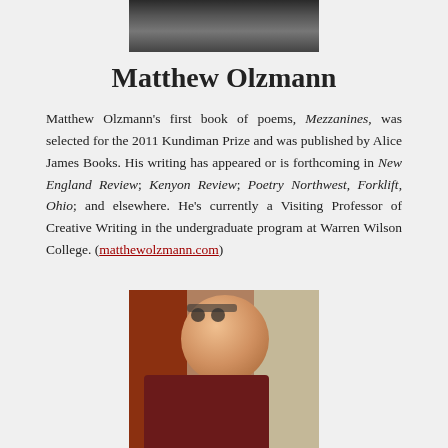[Figure (photo): Partial photo of a person at the top of the page, cropped]
Matthew Olzmann
Matthew Olzmann's first book of poems, Mezzanines, was selected for the 2011 Kundiman Prize and was published by Alice James Books. His writing has appeared or is forthcoming in New England Review; Kenyon Review; Poetry Northwest, Forklift, Ohio; and elsewhere. He's currently a Visiting Professor of Creative Writing in the undergraduate program at Warren Wilson College. (matthewolzmann.com)
[Figure (photo): Photo of an Asian man wearing glasses and a dark red/maroon jacket, standing outdoors in front of brick buildings]